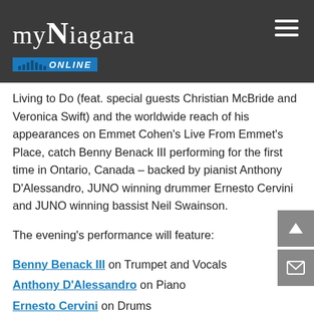myNiagara ONLINE
Living to Do (feat. special guests Christian McBride and Veronica Swift) and the worldwide reach of his appearances on Emmet Cohen's Live From Emmet's Place, catch Benny Benack III performing for the first time in Ontario, Canada – backed by pianist Anthony D'Alessandro, JUNO winning drummer Ernesto Cervini and JUNO winning bassist Neil Swainson.
The evening's performance will feature:
Benny Benack III on Trumpet and Vocals
Anthony D'Alessandro on Piano
Ernesto Cervini on Drums
Neil Swainson on Bass
Tickets are non-refundable. Artists and venues are